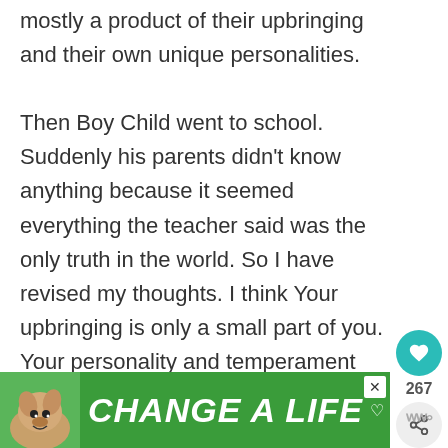mostly a product of their upbringing and their own unique personalities.

Then Boy Child went to school. Suddenly his parents didn't know anything because it seemed everything the teacher said was the only truth in the world. So I have revised my thoughts. I think Your upbringing is only a small part of you. Your personality and temperament are just if not more important. Upbringing and personality influence how you relate to the others around you.
[Figure (infographic): Green advertisement banner reading 'CHANGE A LIFE' with a dog photo on the left side, close button top right, and a small heart icon.]